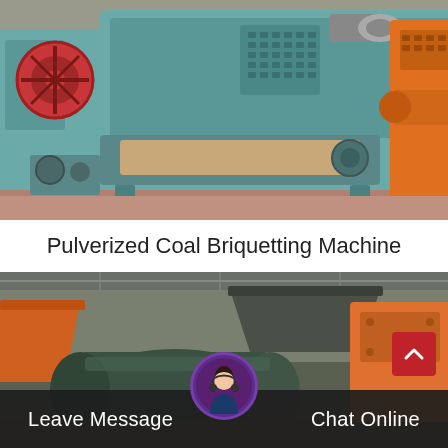[Figure (photo): Industrial pulverized coal briquetting machine painted in teal/gray color, photographed in a factory/warehouse setting. Shows large mechanical components including a red flywheel, conveyors, and metal housing.]
Pulverized Coal Briquetting Machine
[Figure (photo): Second industrial briquetting machine photographed in a factory, dark green/teal colored cylindrical components with orange hopper/chute, warehouse background visible.]
Leave Message
Chat Online